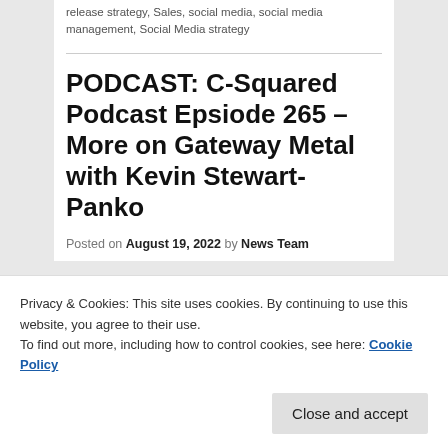release strategy, Sales, social media, social media management, Social Media strategy
PODCAST: C-Squared Podcast Epsiode 265 – More on Gateway Metal with Kevin Stewart-Panko
Posted on August 19, 2022 by News Team
Privacy & Cookies: This site uses cookies. By continuing to use this website, you agree to their use.
To find out more, including how to control cookies, see here: Cookie Policy